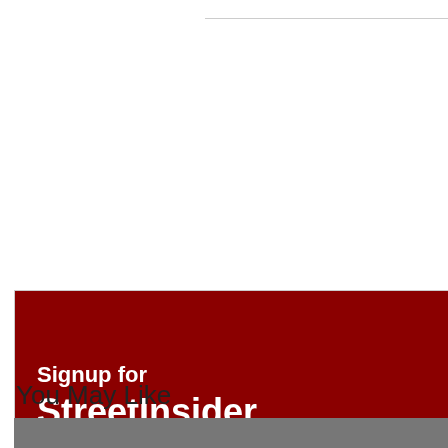[Figure (infographic): StreetInsider Premium advertisement banner with dark red background and green 'Free Trial!' badge in the top-right corner. Text reads 'Signup for StreetInsider Premium Today!']
You May Like
[Figure (photo): Partial photo visible at bottom of page, appears to show people]